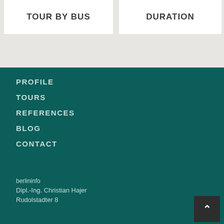TOUR BY BUS
DURATION
PROFILE
TOURS
REFERENCES
BLOG
CONTACT
berlininfo
Dipl.-Ing. Christian Hajer
Rudolstadter 8